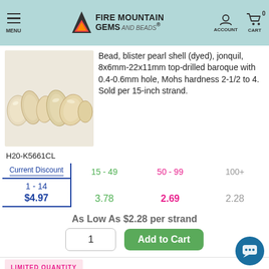MENU | FIRE MOUNTAIN GEMS and Beads | ACCOUNT | CART 0
[Figure (photo): Photo of blister pearl shell beads in jonquil/cream color, baroque top-drilled shape, arranged in a strand on white background]
Bead, blister pearl shell (dyed), jonquil, 8x6mm-22x11mm top-drilled baroque with 0.4-0.6mm hole, Mohs hardness 2-1/2 to 4. Sold per 15-inch strand.
H20-K5661CL
| Current Discount | 15 - 49 | 50 - 99 | 100+ |
| --- | --- | --- | --- |
| 1 - 14 | 15 - 49 | 50 - 99 | 100+ |
| $4.97 | 3.78 | 2.69 | 2.28 |
As Low As $2.28 per strand
1
Add to Cart
LIMITED QUANTITY
IN STOCK
Bead, blister pearl shell (dyed), 9x6mm-22x10mm baroque with 0-0.6mm hole, Mohs hardness 2-1/2 to 4.